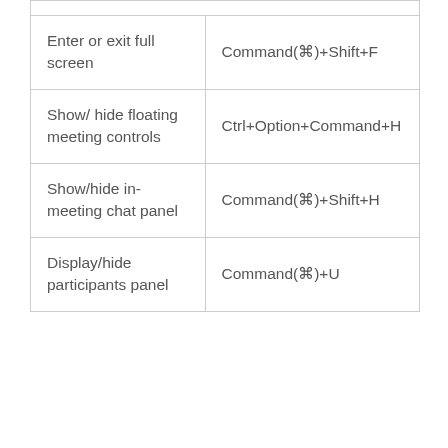| Action | Shortcut |
| --- | --- |
| Enter or exit full screen | Command(⌘)+Shift+F |
| Show/ hide floating meeting controls | Ctrl+Option+Command+H |
| Show/hide in-meeting chat panel | Command(⌘)+Shift+H |
| Display/hide participants panel | Command(⌘)+U |